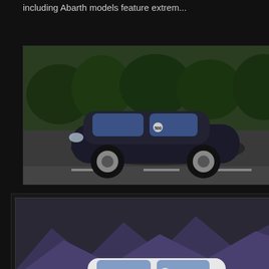including Abarth models feature extrem...
[Figure (photo): Dark blue/black Fiat 500 car on road, front three-quarter view]
[Figure (photo): White Fiat 500 Abarth on racetrack, front three-quarter view]
Fiat 500 Abarth Review
Previously Posted
[Figure (photo): White Fiat 500 Abarth on racetrack]
| Month/Model | Sales | Prev Year |
| --- | --- | --- |
| 500 | 1,214 | he... |
| 500L | 4,190 | 4,... |
| July 2013
500
500L | 2,821
962
3,783 | 3,...
ne...
3,... |
| June 2013
500
500L | 3,509
541
4,050 | 4,0...
ne...
4,0... |
| May 2013 | 4,051 | 4,0... |
| April 2013 | 3,899 | 3,8... |
| March 2013 | 3,807 | 3,7... |
| February 2013 | 3,302 | 3,2... |
| January 2013 | 2,503 | 1,9... |
August Recap
Follow the links below to rea...